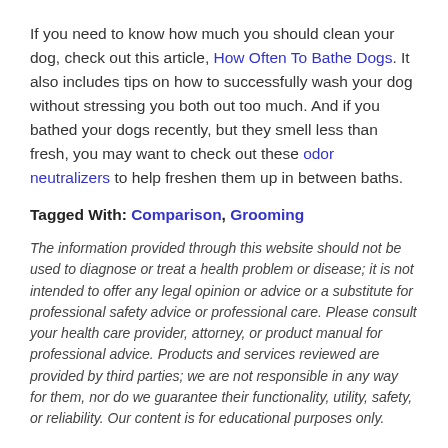If you need to know how much you should clean your dog, check out this article, How Often To Bathe Dogs. It also includes tips on how to successfully wash your dog without stressing you both out too much. And if you bathed your dogs recently, but they smell less than fresh, you may want to check out these odor neutralizers to help freshen them up in between baths.
Tagged With: Comparison, Grooming
The information provided through this website should not be used to diagnose or treat a health problem or disease; it is not intended to offer any legal opinion or advice or a substitute for professional safety advice or professional care. Please consult your health care provider, attorney, or product manual for professional advice. Products and services reviewed are provided by third parties; we are not responsible in any way for them, nor do we guarantee their functionality, utility, safety, or reliability. Our content is for educational purposes only.